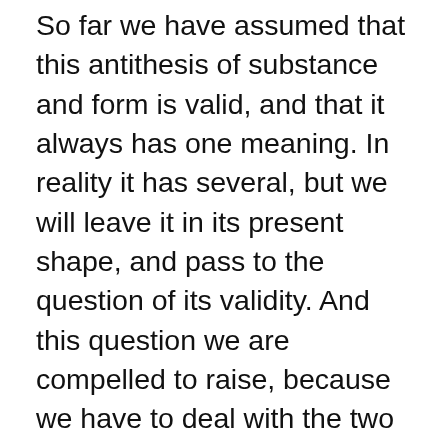So far we have assumed that this antithesis of substance and form is valid, and that it always has one meaning. In reality it has several, but we will leave it in its present shape, and pass to the question of its validity. And this question we are compelled to raise, because we have to deal with the two contentions that the poetic value lies wholly or mainly in the substance, and that it lies wholly or mainly in the form. Now these contentions, whether false or true, may seem at least to be clear; but we shall find, I think, that they are both of them false, or both of them nonsense: false if they concern anything outside the poem, nonsense if they apply to something in it. For what do they evidently imply? They imply that there are in a poem two parts, factors, or components, a substance and a form; and that you can conceive them distinctly and separately, so that when you are speaking of the one you are not speaking of the other. Otherwise how can you ask the question, In which of them does the value lie? But